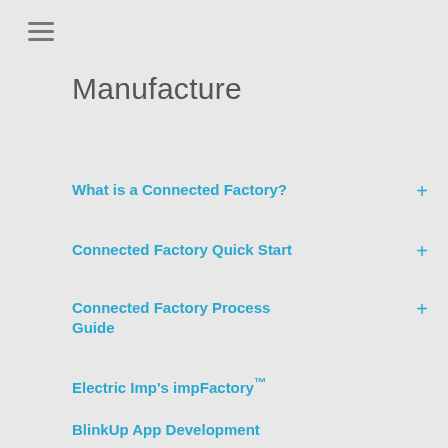Manufacture
What is a Connected Factory?
Connected Factory Quick Start
Connected Factory Process Guide
Electric Imp's impFactory™
BlinkUp App Development
How to Monitor Your Product
How Electric Imp Monitors the impCloud™
log messages posted to the service. Electric Imp's imp API provides a number of useful tools to help